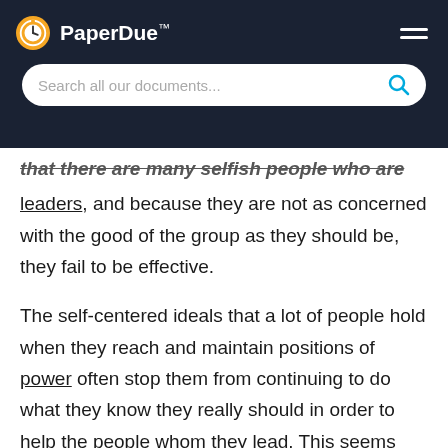PaperDue™ — Search all our documents...
that there are many selfish people who are leaders, and because they are not as concerned with the good of the group as they should be, they fail to be effective.
The self-centered ideals that a lot of people hold when they reach and maintain positions of power often stop them from continuing to do what they know they really should in order to help the people whom they lead. This seems like